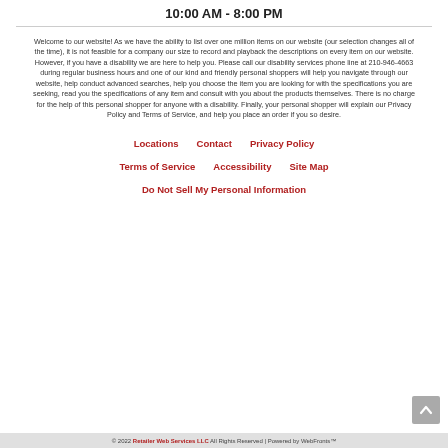10:00 AM - 8:00 PM
Welcome to our website! As we have the ability to list over one million items on our website (our selection changes all of the time), it is not feasible for a company our size to record and playback the descriptions on every item on our website. However, if you have a disability we are here to help you. Please call our disability services phone line at 210-946-4663 during regular business hours and one of our kind and friendly personal shoppers will help you navigate through our website, help conduct advanced searches, help you choose the item you are looking for with the specifications you are seeking, read you the specifications of any item and consult with you about the products themselves. There is no charge for the help of this personal shopper for anyone with a disability. Finally, your personal shopper will explain our Privacy Policy and Terms of Service, and help you place an order if you so desire.
Locations
Contact
Privacy Policy
Terms of Service
Accessibility
Site Map
Do Not Sell My Personal Information
© 2022 Retailer Web Services LLC All Rights Reserved | Powered by WebFronts™